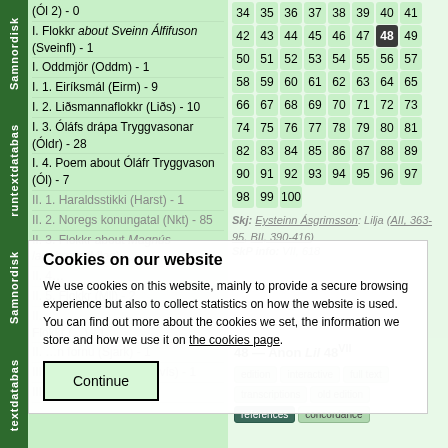I. Flokkr about Sveinn Álfifuson (Sveinfl) - 1
I. Oddmjör (Oddm) - 1
I. 1. Eiríksmál (Eirm) - 9
I. 2. Liðsmannaflokkr (Liðs) - 10
I. 3. Óláfs drápa Tryggvasonar (Óldr) - 28
I. 4. Poem about Óláfr Tryggvason (Ól) - 7
| 34 | 35 | 36 | 37 | 38 | 39 | 40 | 41 |
| 42 | 43 | 44 | 45 | 46 | 47 | 48 | 49 |
| 50 | 51 | 52 | 53 | 54 | 55 | 56 | 57 |
| 58 | 59 | 60 | 61 | 62 | 63 | 64 | 65 |
| 66 | 67 | 68 | 69 | 70 | 71 | 72 | 73 |
| 74 | 75 | 76 | 77 | 78 | 79 | 80 | 81 |
| 82 | 83 | 84 | 85 | 86 | 87 | 88 | 89 |
| 90 | 91 | 92 | 93 | 94 | 95 | 96 | 97 |
| 98 | 99 | 100 |
Cookies on our website
We use cookies on this website, mainly to provide a secure browsing experience but also to collect statistics on how the website is used. You can find out more about the cookies we set, the information we store and how we use it on the cookies page.
Continue
Skj: Eysteinn Ásgrimsson: Lilja (AII, 363-95, BII, 390-416)
SkP info: VII, 618
48 — Anon Lil 48VII
edition | interactive | full text | transcriptions | old edition | references | concordance